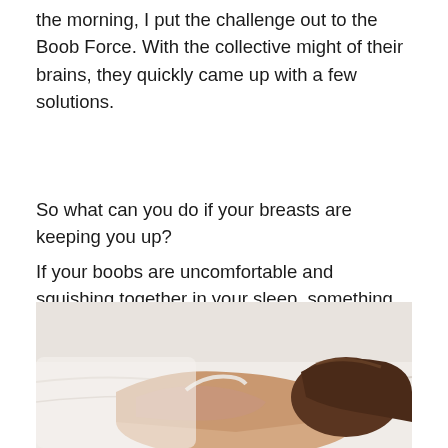the morning, I put the challenge out to the Boob Force. With the collective might of their brains, they quickly came up with a few solutions.
So what can you do if your breasts are keeping you up?
If your boobs are uncomfortable and squishing together in your sleep, something like a Kush can help you, especially if you sleep on your side: thousands of women swear by them. That said, you probably need a much greater sense of humour about what you look like at bedtime than I have, because sexy they are not...
[Figure (photo): A woman with dark hair lying on a white bed, viewed from behind/side, wearing a light-colored top, photographed from chest-up angle.]